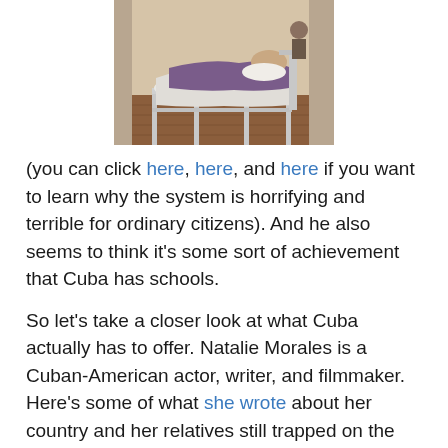[Figure (photo): A hospital room showing a patient lying in a metal bed with white bedding in a sparse, deteriorated room with bare concrete walls and wooden floor.]
(you can click here, here, and here if you want to learn why the system is horrifying and terrible for ordinary citizens). And he also seems to think it's some sort of achievement that Cuba has schools.
So let's take a closer look at what Cuba actually has to offer. Natalie Morales is a Cuban-American actor, writer, and filmmaker. Here's some of what she wrote about her country and her relatives still trapped on the island.
…we send money, medicine or syringes for the diabetic aunt (since the hospital doesn't have any unused disposable ones), baby clothes, adult clothes, shoes, or